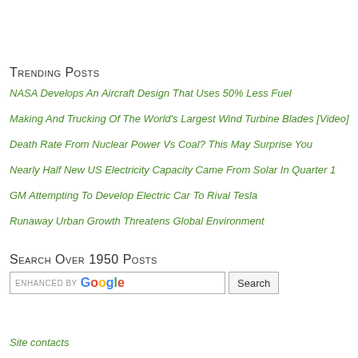Trending Posts
NASA Develops An Aircraft Design That Uses 50% Less Fuel
Making And Trucking Of The World's Largest Wind Turbine Blades [Video]
Death Rate From Nuclear Power Vs Coal? This May Surprise You
Nearly Half New US Electricity Capacity Came From Solar In Quarter 1
GM Attempting To Develop Electric Car To Rival Tesla
Runaway Urban Growth Threatens Global Environment
Search Over 1950 Posts
[Figure (other): Search box enhanced by Google with Search button]
Site contacts